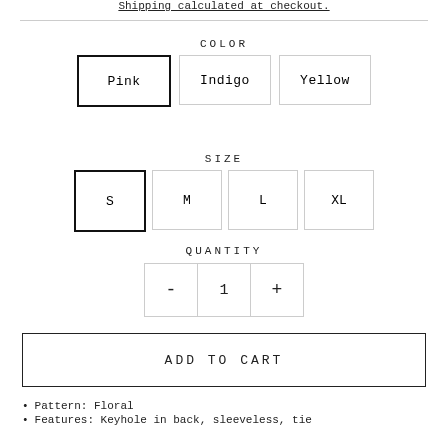Shipping calculated at checkout.
COLOR
Pink  Indigo  Yellow
SIZE
S  M  L  XL
QUANTITY
- 1 +
ADD TO CART
Pattern: Floral
Features: Keyhole in back, sleeveless, tie